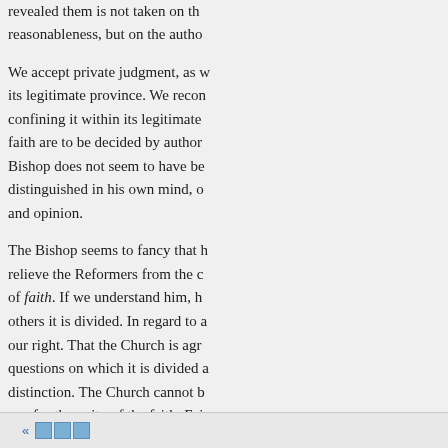revealed them is not taken on the reasonableness, but on the autho
We accept private judgment, as w its legitimate province. We recon confining it within its legitimate faith are to be decided by author Bishop does not seem to have be distinguished in his own mind, o and opinion.
The Bishop seems to fancy that h relieve the Reformers from the c of faith. If we understand him, h others it is divided. In regard to a our right. That the Church is agr questions on which it is divided a distinction. The Church cannot b we, for the unity of the faith. Fai of the Church ; for the Bishop hi faith, and of course of no others. breaking its unity, must be simpl
« □□□